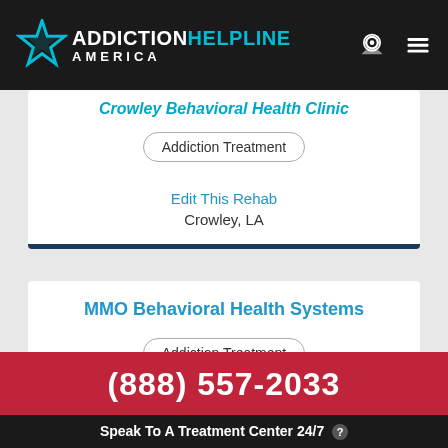ADDICTION HELPLINE AMERICA
Crowley Behavioral Health Clinic
Addiction Treatment
Edit This Rehab
Crowley, LA
MMO Behavioral Health Systems
Addiction Treatment
Edit This Rehab
(888) 557-2033 Speak To A Treatment Center 24/7